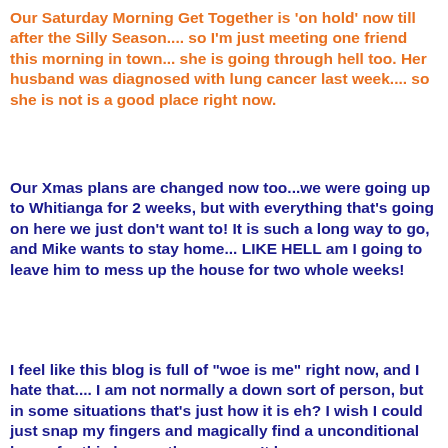Our Saturday Morning Get Together is 'on hold' now till after the Silly Season.... so I'm just meeting one friend this morning in town... she is going through hell too. Her husband was diagnosed with lung cancer last week.... so she is not is a good place right now.
Our Xmas plans are changed now too...we were going up to Whitianga for 2 weeks, but with everything that's going on here we just don't want to! It is such a long way to go, and Mike wants to stay home... LIKE HELL am I going to leave him to mess up the house for two whole weeks!
I feel like this blog is full of "woe is me" right now, and I hate that.... I am not normally a down sort of person, but in some situations that's just how it is eh? I wish I could just snap my fingers and magically find a unconditional buyer for this house, then we won't lose